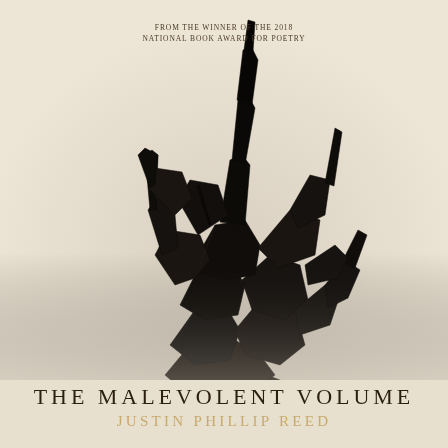FROM THE WINNER OF THE 2018
NATIONAL BOOK AWARD FOR POETRY
[Figure (photo): A dark black paper/cardboard sculpture with angular, spiky forms resembling an abstract figure or creature, held up against a pale beige/cream background. The sculpture is made of folded geometric shapes with sharp protrusions extending upward.]
THE MALEVOLENT VOLUME
JUSTIN PHILLIP REED